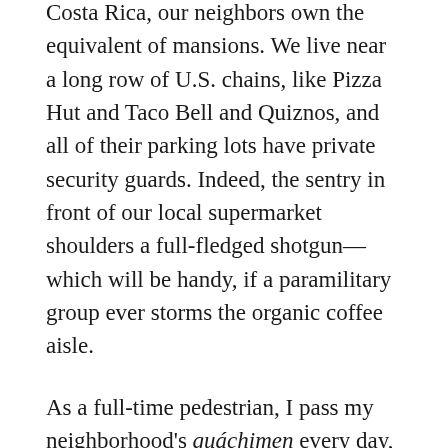Costa Rica, our neighbors own the equivalent of mansions. We live near a long row of U.S. chains, like Pizza Hut and Taco Bell and Quiznos, and all of their parking lots have private security guards. Indeed, the sentry in front of our local supermarket shoulders a full-fledged shotgun—which will be handy, if a paramilitary group ever storms the organic coffee aisle.
As a full-time pedestrian, I pass my neighborhood's guáchimen every day, and we have a strangely warm relationship. A leathery 61-year-old named Juan often sees my wife running, and he has invited us to join him on his own jogs around town. Mikhail, who is Santos' nocturnal counterpart, is a shy Romanian with an estranged wife and child in Germany; on late nights, I often chat with Mikhail for a few minutes in